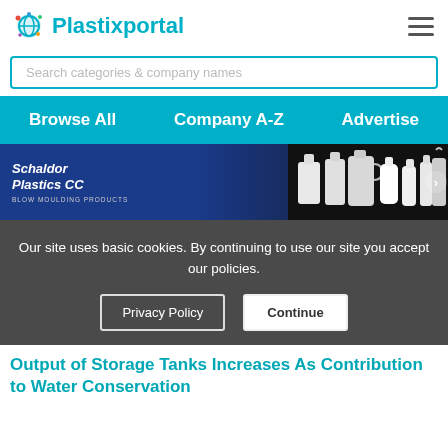Plastixportal
Search categories & company names
Browse All   Company A-Z   Advertise
[Figure (photo): Schaldor Plastics CC - Blow Moulding Products advertisement banner showing white plastic bottles and containers]
Our site uses basic cookies. By continuing to use our site you accept our policies.
Privacy Policy   Continue
Output of Storage Tanks Increases As Contribution to Water Conservation